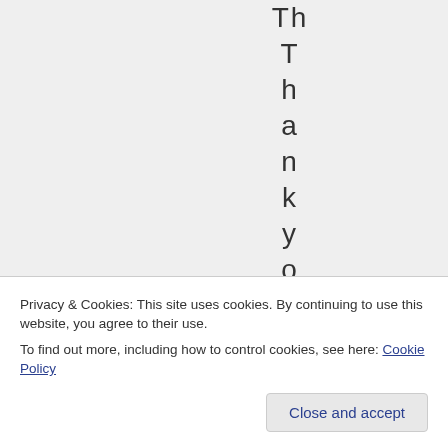Thankyou,d
Privacy & Cookies: This site uses cookies. By continuing to use this website, you agree to their use.
To find out more, including how to control cookies, see here: Cookie Policy
Close and accept